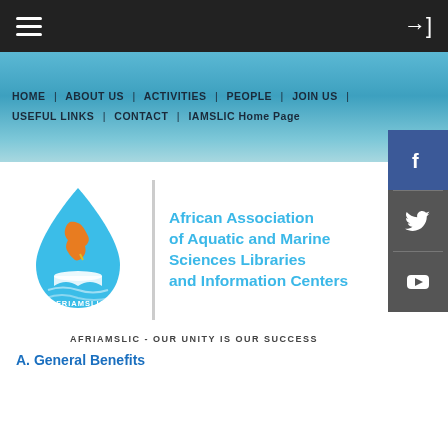≡  [login icon]
[Figure (screenshot): Website navigation banner with ocean water background. Nav links: HOME | ABOUT US | ACTIVITIES | PEOPLE | JOIN US | USEFUL LINKS | CONTACT | IAMSLIC Home Page]
[Figure (logo): AFRIAMSLIC logo: blue water droplet containing map of Africa and open book, with text AFRIAMSLIC. Beside it: African Association of Aquatic and Marine Sciences Libraries and Information Centers in cyan bold text. Social media buttons (Facebook, Twitter, YouTube) on right sidebar.]
AFRIAMSLIC - OUR UNITY IS OUR SUCCESS
A. General Benefits